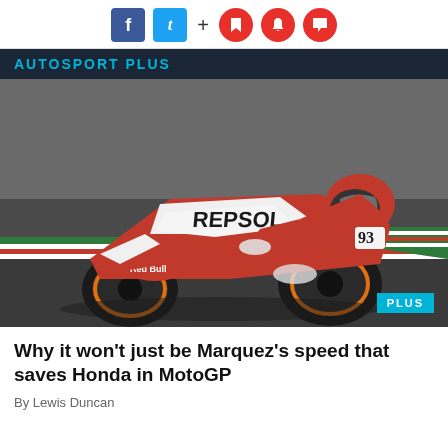Social share toolbar with Facebook, Twitter, plus, bookmark, bell, comment icons
AUTOSPORT PLUS
[Figure (photo): MotoGP rider on a Repsol Honda motorcycle, leaning heavily into a corner at a racing circuit. The bike is red, white and orange with Repsol and Honda branding. A PLUS badge appears in the bottom-right corner.]
Why it won't just be Marquez's speed that saves Honda in MotoGP
By Lewis Duncan